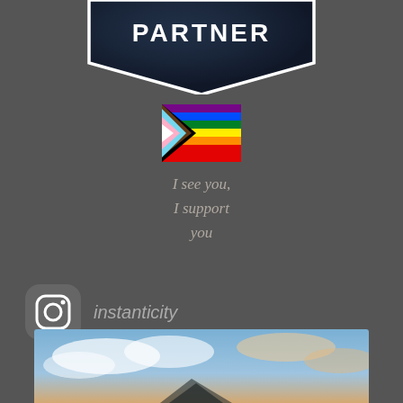[Figure (logo): Partner badge/shield shape with dark blue background and white border, text PARTNER in bold white]
[Figure (illustration): Progress Pride flag emoji - rainbow stripes with trans colors and brown/black chevron on left]
I see you,
I support
you
[Figure (logo): Instagram camera icon in rounded square, dark grey background]
instanticity
[Figure (photo): Sky photo with blue sky, clouds and warm sunset tones at bottom]